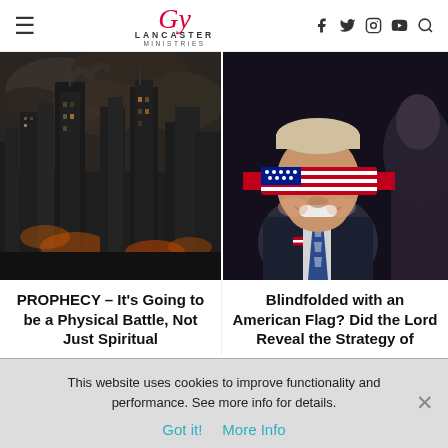Lancaster Ministries — navigation header with hamburger menu, logo, and social icons (Facebook, Twitter, Instagram, YouTube, Search)
[Figure (photo): Dramatic image of skyscrapers on fire with dark smoke billowing, apocalyptic cityscape]
PROPHECY – It's Going to be a Physical Battle, Not Just Spiritual
[Figure (photo): Man blindfolded with an American flag, smiling, in a suit with an American flag pin, next to a robed figure in the background]
Blindfolded with an American Flag? Did the Lord Reveal the Strategy of
This website uses cookies to improve functionality and performance. See more info for details.
Got it!   More Info